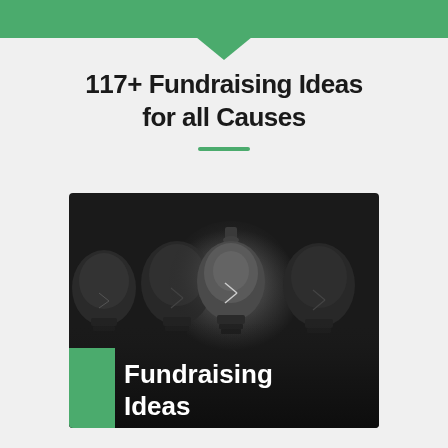117+ Fundraising Ideas for all Causes
[Figure (photo): Photo showing four light bulbs on a dark background, with one bulb in the center glowing with a soft light. A green square accent and white bold text reading 'Fundraising Ideas' overlay the bottom-left of the image.]